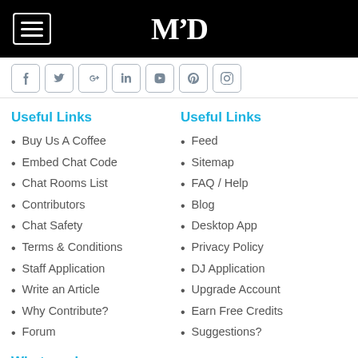[Figure (screenshot): Black navigation header bar with hamburger menu button on left and MP logo in center]
[Figure (screenshot): Row of social media icon buttons: Facebook, Twitter, Google+, LinkedIn, YouTube, Pinterest, Instagram]
Useful Links
Buy Us A Coffee
Embed Chat Code
Chat Rooms List
Contributors
Chat Safety
Terms & Conditions
Staff Application
Write an Article
Why Contribute?
Forum
Useful Links
Feed
Sitemap
FAQ / Help
Blog
Desktop App
Privacy Policy
DJ Application
Upgrade Account
Earn Free Credits
Suggestions?
What we do